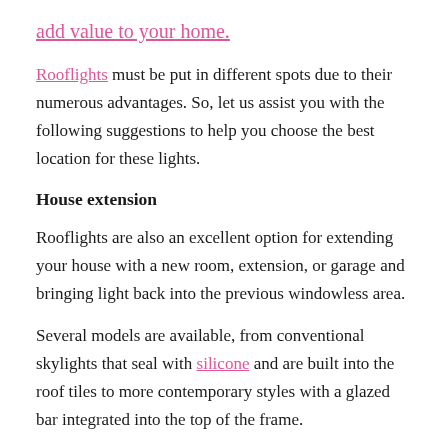add value to your home.
Rooflights must be put in different spots due to their numerous advantages. So, let us assist you with the following suggestions to help you choose the best location for these lights.
House extension
Rooflights are also an excellent option for extending your house with a new room, extension, or garage and bringing light back into the previous windowless area.
Several models are available, from conventional skylights that seal with silicone and are built into the roof tiles to more contemporary styles with a glazed bar integrated into the top of the frame.